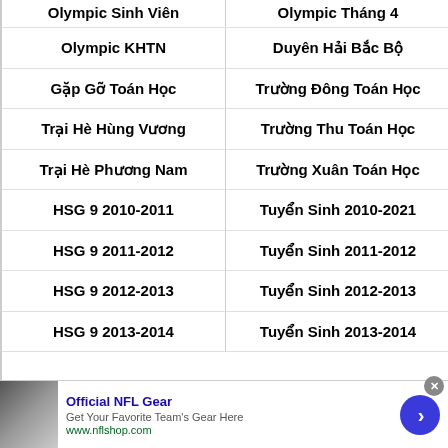Olympic KHTN
Duyên Hải Bắc Bộ
Gặp Gỡ Toán Học
Trường Đông Toán Học
Trại Hè Hùng Vương
Trường Thu Toán Học
Trại Hè Phương Nam
Trường Xuân Toán Học
HSG 9 2010-2011
Tuyển Sinh 2010-2021
HSG 9 2011-2012
Tuyển Sinh 2011-2012
HSG 9 2012-2013
Tuyển Sinh 2012-2013
HSG 9 2013-2014
Tuyển Sinh 2013-2014